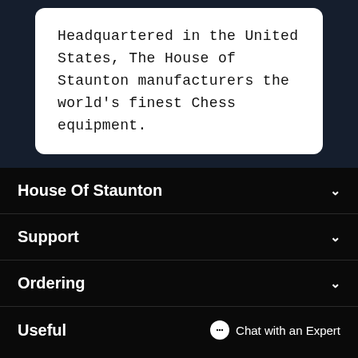Headquartered in the United States, The House of Staunton manufacturers the world's finest Chess equipment.
House Of Staunton
Support
Ordering
Useful